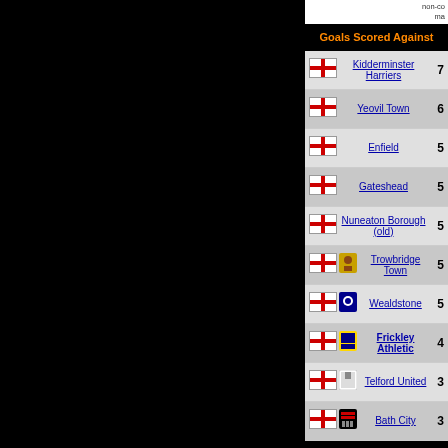non-co ma
Goals Against
| Flag | Badge | Team | Goals |
| --- | --- | --- | --- |
| [England] |  | Kidderminster Harriers | 7 |
| [England] |  | Yeovil Town | 6 |
| [England] |  | Enfield | 5 |
| [England] |  | Gateshead | 5 |
| [England] |  | Nuneaton Borough (old) | 5 |
| [England] | [Badge] | Trowbridge Town | 5 |
| [England] | [Badge] | Wealdstone | 5 |
| [England] | [Badge] | Frickley Athletic | 4 |
| [England] | [Badge] | Telford United | 3 |
| [England] | [Badge] | Bath City | 3 |
1 2 3
This pl not so goals Ba
Goal Map - Available from 1991/1992 onw